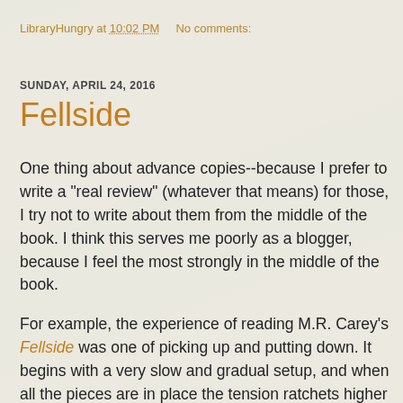LibraryHungry at 10:02 PM    No comments:
SUNDAY, APRIL 24, 2016
Fellside
One thing about advance copies--because I prefer to write a "real review" (whatever that means) for those, I try not to write about them from the middle of the book. I think this serves me poorly as a blogger, because I feel the most strongly in the middle of the book.
For example, the experience of reading M.R. Carey's Fellside was one of picking up and putting down. It begins with a very slow and gradual setup, and when all the pieces are in place the tension ratchets higher and higher, to the point where it seemed like every twenty minutes I had to put it down because I was getting myself all twisted up with anxiety that SOMETHING BAD WAS GOING TO GO DOWN AT ANY MOMENT. This is a very good thing in a book.